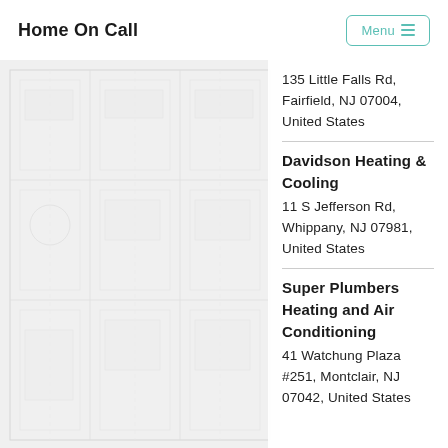Home On Call
135 Little Falls Rd, Fairfield, NJ 07004, United States
Davidson Heating & Cooling
11 S Jefferson Rd, Whippany, NJ 07981, United States
Super Plumbers Heating and Air Conditioning
41 Watchung Plaza #251, Montclair, NJ 07042, United States